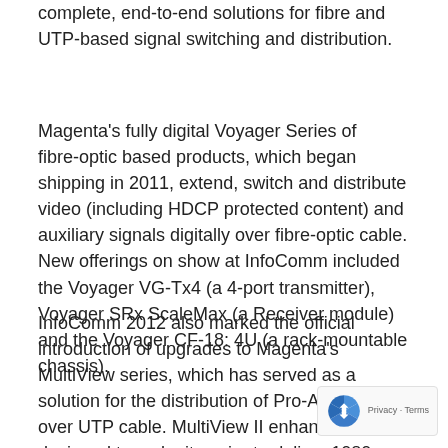complete, end-to-end solutions for fibre and UTP-based signal switching and distribution.
Magenta's fully digital Voyager Series of fibre-optic based products, which began shipping in 2011, extend, switch and distribute video (including HDCP protected content) and auxiliary signals digitally over fibre-optic cable. New offerings on show at InfoComm included the Voyager VG-Tx4 (a 4-port transmitter), Voyager SRx ScaleMax (a Receiver module) and the Voyager CF-18: 4U (a rack-mountable chassis).
InfoComm 2012 also marked the official introduction of upgrades to Magenta's MultiView series, which has served as a solution for the distribution of Pro-AV signals over UTP cable. MultiView II enhancements all designed to make it easier to deliver 1080p resolution